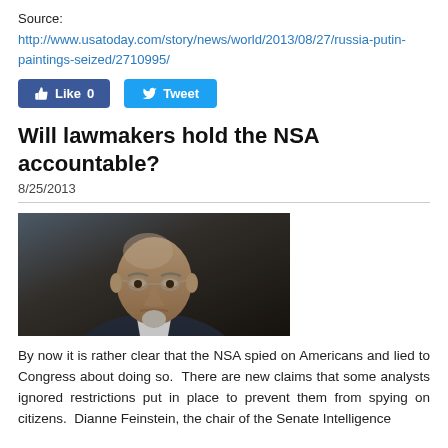Source:
http://www.usatoday.com/story/news/world/2013/08/27/russia-putin-paintings-seized/2710995/
[Figure (other): Facebook Like button (Like 0) and Twitter Tweet button]
Will lawmakers hold the NSA accountable?
8/25/2013
[Figure (photo): Photo of an elderly man with glasses and a white goatee, wearing a dark suit, looking downward with a serious expression.]
By now it is rather clear that the NSA spied on Americans and lied to Congress about doing so. There are new claims that some analysts ignored restrictions put in place to prevent them from spying on citizens. Dianne Feinstein, the chair of the Senate Intelligence